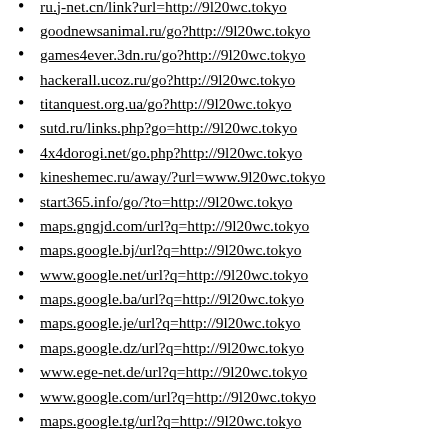ru.j-net.cn/link?url=http://9l20wc.tokyo
goodnewsanimal.ru/go?http://9l20wc.tokyo
games4ever.3dn.ru/go?http://9l20wc.tokyo
hackerall.ucoz.ru/go?http://9l20wc.tokyo
titanquest.org.ua/go?http://9l20wc.tokyo
sutd.ru/links.php?go=http://9l20wc.tokyo
4x4dorogi.net/go.php?http://9l20wc.tokyo
kineshemec.ru/away/?url=www.9l20wc.tokyo
start365.info/go/?to=http://9l20wc.tokyo
maps.gngjd.com/url?q=http://9l20wc.tokyo
maps.google.bj/url?q=http://9l20wc.tokyo
www.google.net/url?q=http://9l20wc.tokyo
maps.google.ba/url?q=http://9l20wc.tokyo
maps.google.je/url?q=http://9l20wc.tokyo
maps.google.dz/url?q=http://9l20wc.tokyo
www.ege-net.de/url?q=http://9l20wc.tokyo
www.google.com/url?q=http://9l20wc.tokyo
maps.google.tg/url?q=http://9l20wc.tokyo